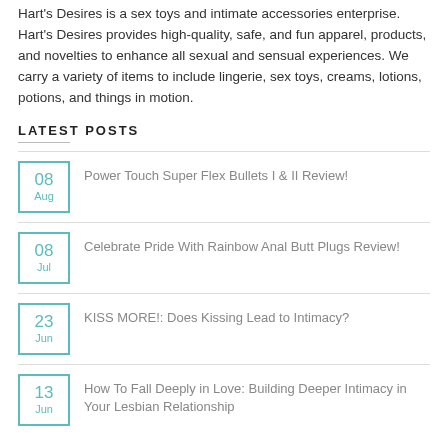Hart's Desires is a sex toys and intimate accessories enterprise. Hart's Desires provides high-quality, safe, and fun apparel, products, and novelties to enhance all sexual and sensual experiences. We carry a variety of items to include lingerie, sex toys, creams, lotions, potions, and things in motion.
LATEST POSTS
08 Aug — Power Touch Super Flex Bullets I & II Review!
08 Jul — Celebrate Pride With Rainbow Anal Butt Plugs Review!
23 Jun — KISS MORE!: Does Kissing Lead to Intimacy?
13 Jun — How To Fall Deeply in Love: Building Deeper Intimacy in Your Lesbian Relationship